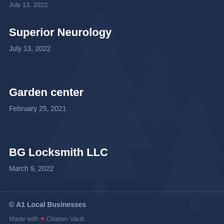July 13, 2022 (partial top entry date)
Superior Neurology
July 13, 2022
Garden center
February 25, 2021
BG Locksmith LLC
March 9, 2022
© A1 Local Businesses
Made with ❤ Citation Vault